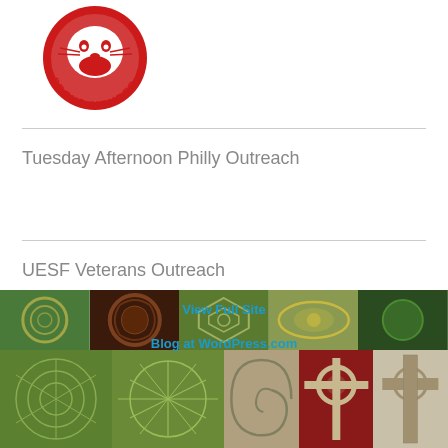[Figure (logo): Red circular badge with a face, text 'PROUD MEMBER' around the bottom]
Tuesday Afternoon Philly Outreach
UESF Veterans Outreach
[Figure (photo): Collage of crop circle and Celtic pattern images at the bottom of the page, with 'View Full Site' and 'Blog at WordPress.com' links overlaid]
View Full Site
Blog at WordPress.com